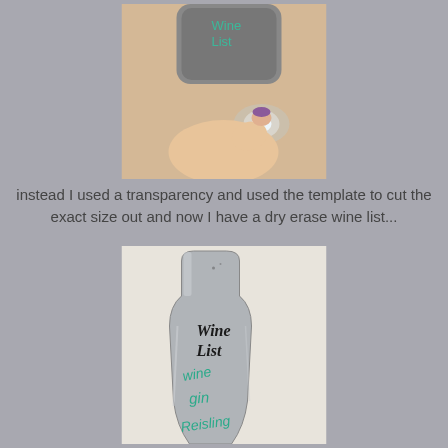[Figure (photo): A hand holding a small glowing device or lighter up to a gray square object against a beige wall background]
instead I used a transparency and used the template to cut the exact size out and now I have a dry erase wine list...
[Figure (photo): A silver bottle-shaped object labeled 'Wine List' with teal handwritten text including 'wine', 'gin', and 'Reisling' written on it]